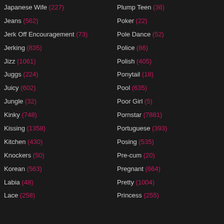Japanese Wife (227)
Plump Teen (36)
Jeans (562)
Poker (22)
Jerk Off Encouragement (73)
Pole Dance (52)
Jerking (835)
Police (86)
Jizz (1061)
Polish (405)
Juggs (224)
Ponytail (18)
Juicy (602)
Pool (635)
Jungle (32)
Poor Girl (5)
Kinky (748)
Pornstar (7881)
Kissing (1358)
Portuguese (393)
Kitchen (430)
Posing (535)
Knockers (50)
Pre-cum (20)
Korean (563)
Pregnant (664)
Labia (48)
Pretty (1004)
Lace (258)
Princess (255)